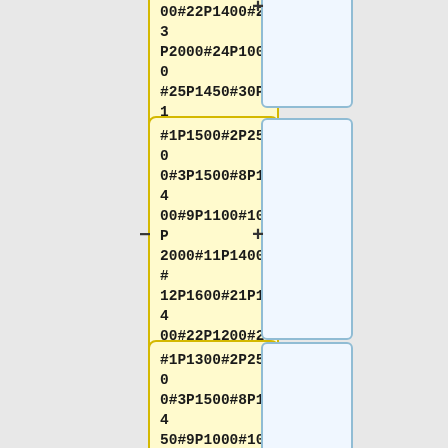[Figure (schematic): Engineering schematic showing three rows of yellow code/data boxes paired with light blue bordered boxes, with minus and plus symbols on the left and right edges respectively. Each yellow box contains parameter codes like #1P1500#2P2500 etc.]
00#22P1400#23P2000#24P1000#25P1450#30P1500#31P2500#32P1900T200
#1P1500#2P2500#3P1500#8P1400#9P1100#10P2000#11P1400#12P1600#21P1400#22P1200#23P2000#24P1200#25P1400#30P1500#31P2500#32P1500T200
#1P1300#2P2500#3P1500#8P1450#9P1000#10P2000#11P1400#12P1500#21P1500#22P1200#23P2000#24P1200